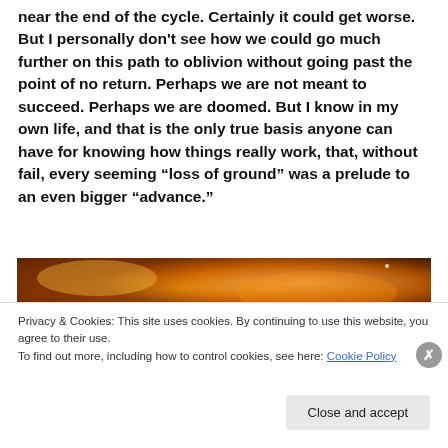near the end of the cycle. Certainly it could get worse. But I personally don't see how we could go much further on this path to oblivion without going past the point of no return. Perhaps we are not meant to succeed. Perhaps we are doomed. But I know in my own life, and that is the only true basis anyone can have for knowing how things really work, that, without fail, every seeming “loss of ground” was a prelude to an even bigger “advance.”
[Figure (photo): A partial image showing orange-gold fiery or cosmic background, partially obscured by a cookie consent overlay]
Privacy & Cookies: This site uses cookies. By continuing to use this website, you agree to their use.
To find out more, including how to control cookies, see here: Cookie Policy